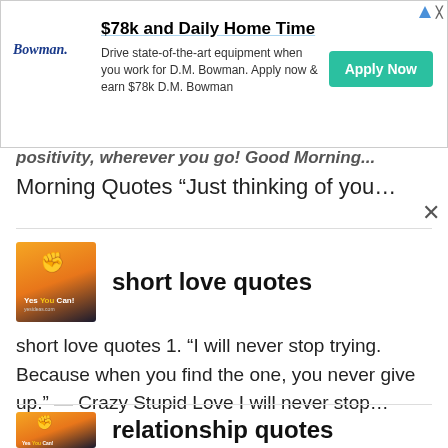[Figure (other): Advertisement banner: Bowman trucking company ad with logo, headline '$78k and Daily Home Time', body text 'Drive state-of-the-art equipment when you work for D.M. Bowman. Apply now & earn $78k D.M. Bowman', and green 'Apply Now' button]
positivity, wherever you go! Good Morning...
Morning Quotes “Just thinking of you brightens m…
short love quotes
short love quotes 1. “I will never stop trying. Because when you find the one, you never give up.” — Crazy Stupid Love I will never stop…
relationship quotes